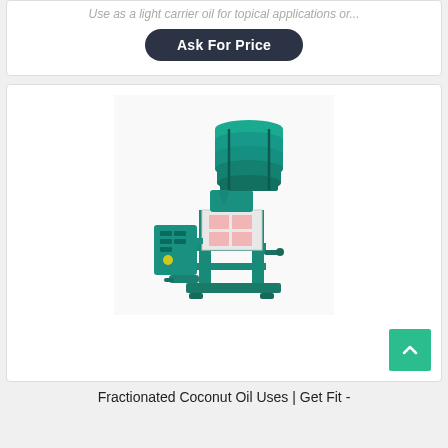Use as a light carrier oil for topical applications or...
Ask For Price
[Figure (photo): A large teal/green industrial oil press machine with a cylindrical tower on top and a control panel on the side.]
Fractionated Coconut Oil Uses | Get Fit -